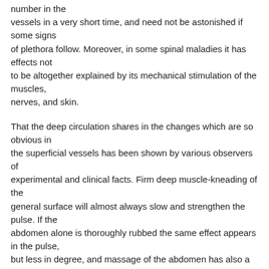number in the vessels in a very short time, and need not be astonished if some signs of plethora follow. Moreover, in some spinal maladies it has effects not to be altogether explained by its mechanical stimulation of the muscles, nerves, and skin.
That the deep circulation shares in the changes which are so obvious in the superficial vessels has been shown by various observers of experimental and clinical facts. Firm deep muscle-kneading of the general surface will almost always slow and strengthen the pulse. If the abdomen alone is thoroughly rubbed the same effect appears in the pulse, but less in degree, and massage of the abdomen has also a distinct effect in increasing the flow of urine, a fact worth remembering in